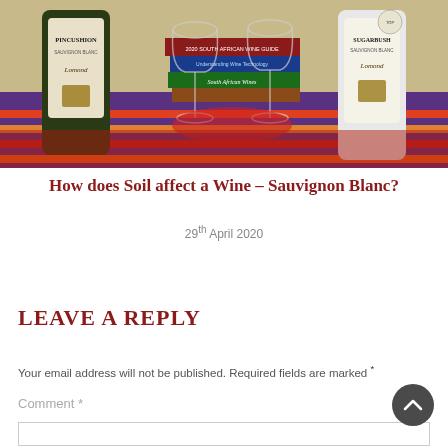[Figure (photo): Photo of two wine bottles labeled Pincushion and Sugarbush by Lomond, with two empty wine glasses and several wine books in the background, on a colorful patterned cloth]
How does Soil affect a Wine – Sauvignon Blanc?
29th April 2020
LEAVE A REPLY
Your email address will not be published. Required fields are marked.*
Comment *